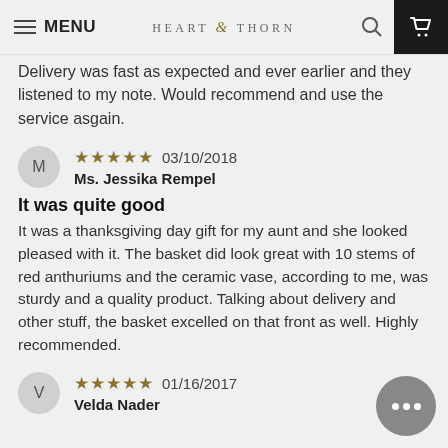MENU | HEART & THORN
Delivery was fast as expected and ever earlier and they listened to my note. Would recommend and use the service asgain.
★★★★★ 03/10/2018
Ms. Jessika Rempel
It was quite good
It was a thanksgiving day gift for my aunt and she looked pleased with it. The basket did look great with 10 stems of red anthuriums and the ceramic vase, according to me, was sturdy and a quality product. Talking about delivery and other stuff, the basket excelled on that front as well. Highly recommended.
★★★★★ 01/16/2017
Velda Nader